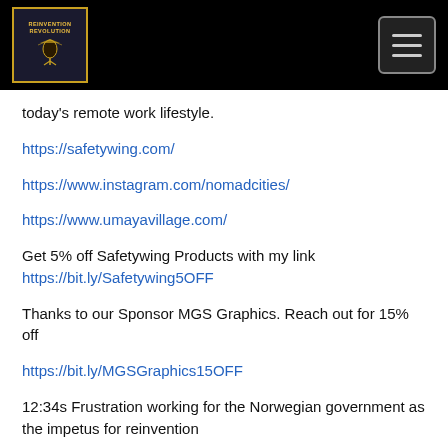[Figure (logo): Reinvention Revolution podcast logo — gold bordered box with dark background and stylized text/figure, shown in black navigation bar]
today's remote work lifestyle.
https://safetywing.com/
https://www.instagram.com/nomadcities/
https://www.umayavillage.com/
Get 5% off Safetywing Products with my link https://bit.ly/Safetywing5OFF
Thanks to our Sponsor MGS Graphics. Reach out for 15% off
https://bit.ly/MGSGraphics15OFF
12:34s Frustration working for the Norwegian government as the impetus for reinvention
15:57s Being a techie as a teenager gave insight into entrepreneurship
18:47s Wanting to provide benefits for worldwide team at first company leads to Safetywing
20:19s Why traditional insurance and health providers haven't